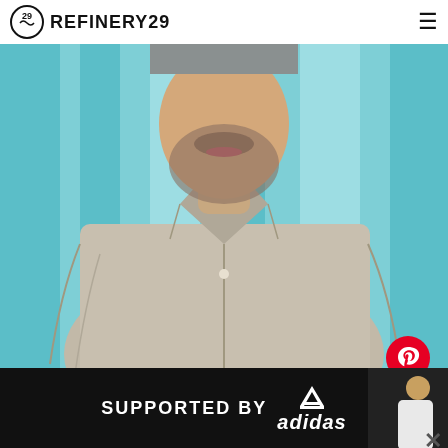REFINERY29
[Figure (photo): A man with a beard wearing a light grey/beige button-up shirt, photographed from the torso up against a light blue striped background. His face is partially visible at the top.]
[Figure (logo): Pinterest circular red button with P logo overlaid on lower right of photo]
SUPPORTED BY adidas